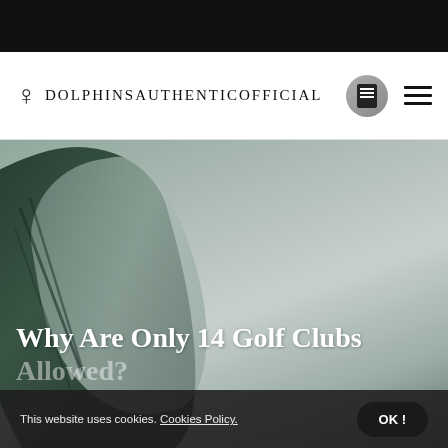DolphinsAuthenticOfficial
[Figure (photo): Close-up photo of golf club heads with dark green and grey metallic surfaces against a muted grey-green background]
Why Are Only 14 Golf Clubs Allowed?
This website uses cookies. Cookies Policy.
OK !